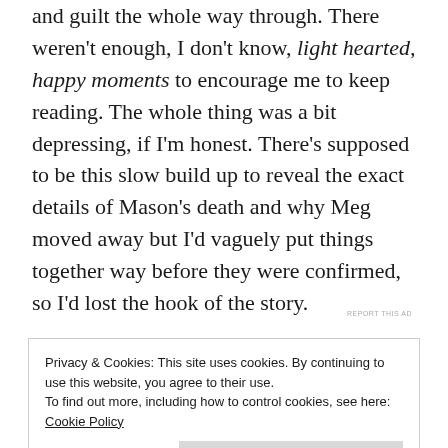and guilt the whole way through. There weren't enough, I don't know, light hearted, happy moments to encourage me to keep reading. The whole thing was a bit depressing, if I'm honest. There's supposed to be this slow build up to reveal the exact details of Mason's death and why Meg moved away but I'd vaguely put things together way before they were confirmed, so I'd lost the hook of the story.
REPORT THIS AD
Privacy & Cookies: This site uses cookies. By continuing to use this website, you agree to their use.
To find out more, including how to control cookies, see here:
Cookie Policy
Close and accept